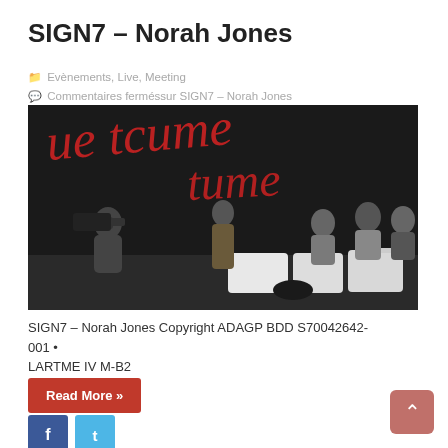SIGN7 – Norah Jones
Evènements, Live, Meeting
Commentaires ferméssur SIGN7 – Norah Jones
[Figure (photo): Photo of a press conference or signing event in a dark room with red graffiti-style text on the wall. A woman stands in the center while camera crew and seated people are visible.]
SIGN7 – Norah Jones Copyright ADAGP BDD S70042642-001 • LARTME IV M-B2
Read More »
f
t